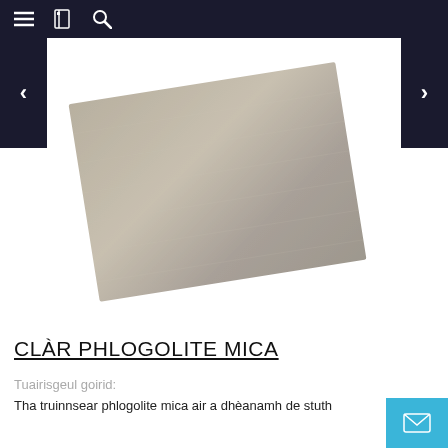Navigation bar with menu, book, and search icons
[Figure (photo): A sheet of phlogopite mica material, grayish-beige color, slightly rotated, displayed as a product image on a white background. Navigation arrows visible on left and right sides.]
CLÀR PHLOGOLITE MICA
Tuairisgeul goirid:
Tha truinnsear phlogolite mica air a dhèanamh de stuth...